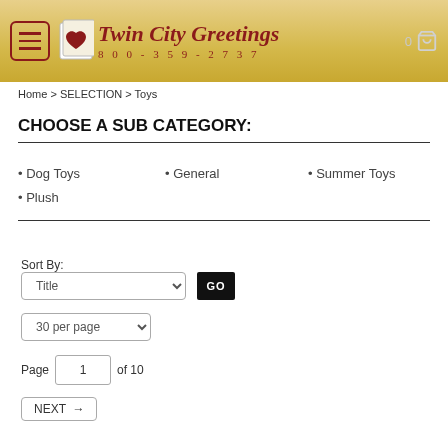Twin City Greetings 800-359-2737
Home > SELECTION > Toys
CHOOSE A SUB CATEGORY:
• Dog Toys
• General
• Summer Toys
• Plush
Sort By:
Title (dropdown)
GO
30 per page (dropdown)
Page 1 of 10
NEXT →